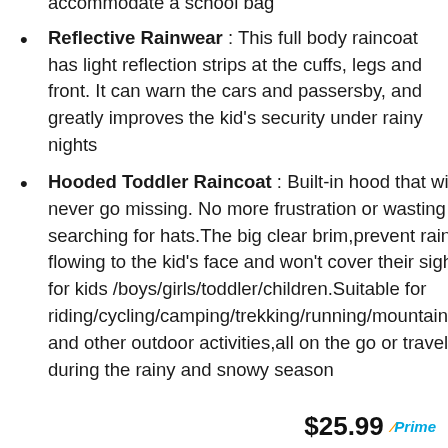accommodate a school bag
Reflective Rainwear : This full body raincoat has light reflection strips at the cuffs, legs and front. It can warn the cars and passersby, and greatly improves the kid's security under rainy nights
Hooded Toddler Raincoat : Built-in hood that will never go missing. No more frustration or wasting time searching for hats.The big clear brim,prevent rain from flowing to the kid's face and won't cover their sight.Fits for kids /boys/girls/toddler/children.Suitable for riding/cycling/camping/trekking/running/mountaineering and other outdoor activities,all on the go or travel need during the rainy and snowy season
$25.99 Prime